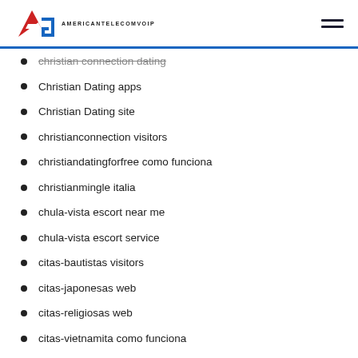AMERICANTELECOMVOIP
christian connection dating
Christian Dating apps
Christian Dating site
christianconnection visitors
christiandatingforfree como funciona
christianmingle italia
chula-vista escort near me
chula-vista escort service
citas-bautistas visitors
citas-japonesas web
citas-religiosas web
citas-vietnamita como funciona